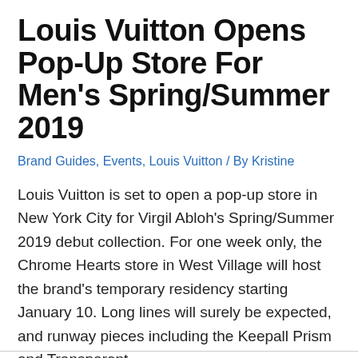Louis Vuitton Opens Pop-Up Store For Men's Spring/Summer 2019
Brand Guides, Events, Louis Vuitton / By Kristine
Louis Vuitton is set to open a pop-up store in New York City for Virgil Abloh's Spring/Summer 2019 debut collection. For one week only, the Chrome Hearts store in West Village will host the brand's temporary residency starting January 10. Long lines will surely be expected, and runway pieces including the Keepall Prism and Transparent …
Read More »